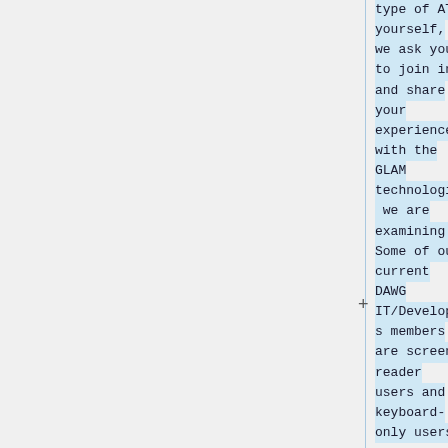type of AT yourself, we ask you to join in and share your experience with the GLAM technologies we are examining. Some of our current DAWG IT/Developers members are screen reader users and keyboard-only users.